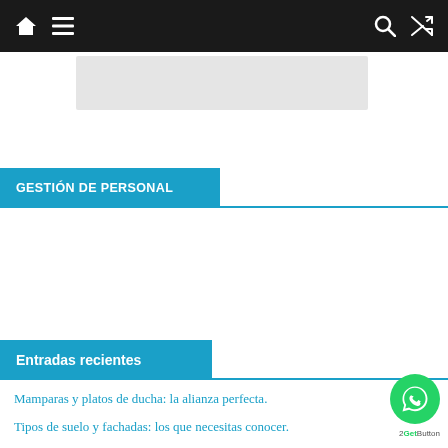Navigation bar with home, menu, search, and shuffle icons
[Figure (other): Placeholder image area (light gray rectangle)]
GESTIÓN DE PERSONAL
Entradas recientes
Mamparas y platos de ducha: la alianza perfecta.
Tipos de suelo y fachadas: los que necesitas conocer.